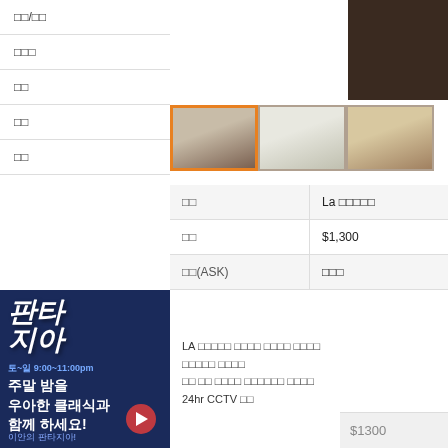□□/□□
□□□
□□
□□
□□
[Figure (photo): Dark wood floor room interior thumbnail - active/selected]
[Figure (photo): Kitchen interior thumbnail]
[Figure (photo): Hallway/door interior thumbnail]
| □□ | La □□□□□ |
| --- | --- |
| □□ | $1,300 |
| □□(ASK) | □□□ |
LA □□□□□ □□□□ □□□□ □□□□
□□□□□ □□□□
□□ □□ □□□□ □□□□□□ □□□□
24hr CCTV □□
[Figure (photo): Korean advertisement - 판타지아 concert/music show ad]
$1300
□□□ □□□□□